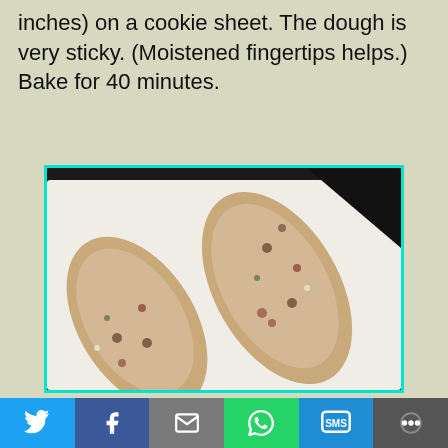inches) on a cookie sheet. The dough is very sticky. (Moistened fingertips helps.) Bake for 40 minutes.
[Figure (photo): Two logs of raw cookie dough with mix-ins (chocolate chips, red and green pieces) shaped and placed on parchment paper on a baking sheet, ready to be baked.]
Twitter | Facebook | Email | WhatsApp | SMS | More